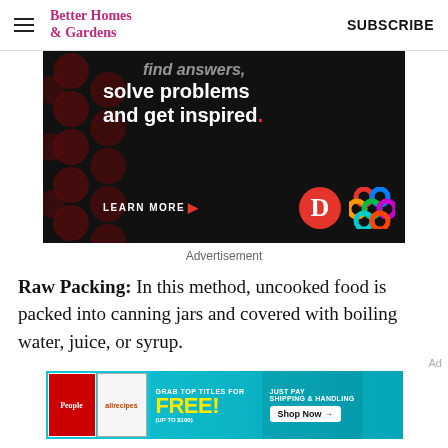Better Homes & Gardens   SUBSCRIBE
[Figure (screenshot): Dark advertisement banner with text 'find answers, solve problems and get inspired.' with LEARN MORE button and Dotdash Meredith logos]
Advertisement
Raw Packing: In this method, uncooked food is packed into canning jars and covered with boiling water, juice, or syrup.
[Figure (screenshot): Bottom promotional banner with People, allrecipes magazines and 'GRAB TOP TITLES FOR FREE! (UP TO $100) JUST PAY SHIPPING & HANDLING Shop Now →' offer]